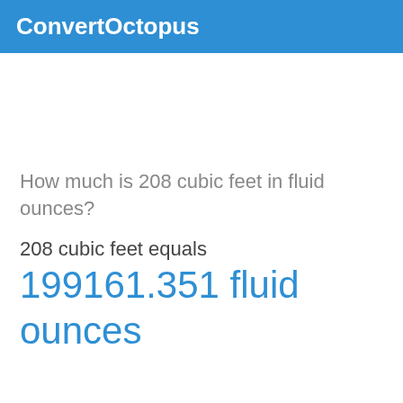ConvertOctopus
How much is 208 cubic feet in fluid ounces?
208 cubic feet equals
199161.351 fluid ounces